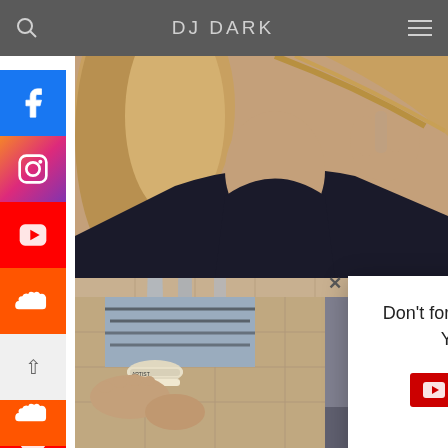DJ DARK
[Figure (photo): Woman in black dress, hair blowing, close-up portrait shot]
[Figure (photo): Person sitting on poolside chair with chrome railing visible]
[Figure (photo): Person's feet and wrists with festival wristbands, zebra patterned pants]
[Figure (screenshot): Popup overlay with text 'Don't forget to follow me on YouTube!' and YouTube subscribe button showing 419K subscribers]
Don't forget to follow me on YouTube! 😄
YouTube 419K